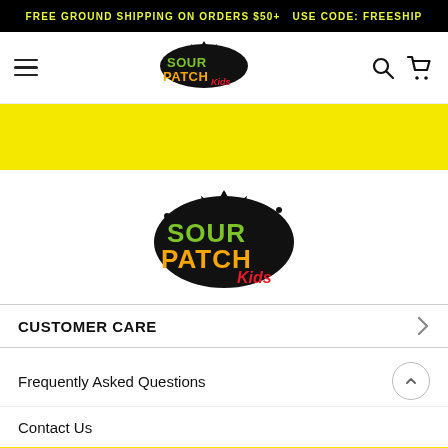FREE GROUND SHIPPING ON ORDERS $50+  USE CODE: FREESHIP
[Figure (logo): Sour Patch Kids logo in navigation bar, with black splat background, green SOUR, orange PATCH, red Kids lettering]
[Figure (logo): Sour Patch Kids large logo centered on page, with black splat background, green SOUR, orange PATCH, red Kids lettering]
CUSTOMER CARE
Frequently Asked Questions
Contact Us